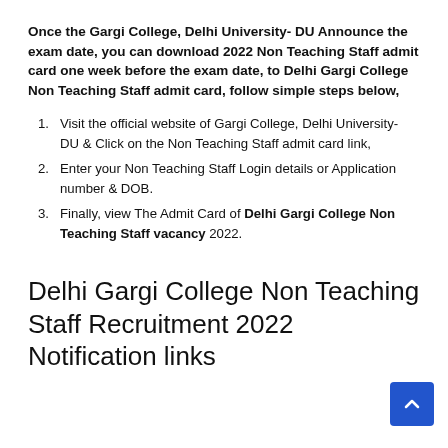Once the Gargi College, Delhi University- DU Announce the exam date, you can download 2022 Non Teaching Staff admit card one week before the exam date, to Delhi Gargi College Non Teaching Staff admit card, follow simple steps below,
Visit the official website of Gargi College, Delhi University- DU & Click on the Non Teaching Staff admit card link,
Enter your Non Teaching Staff Login details or Application number & DOB.
Finally, view The Admit Card of Delhi Gargi College Non Teaching Staff vacancy 2022.
Delhi Gargi College Non Teaching Staff Recruitment 2022 Notification links